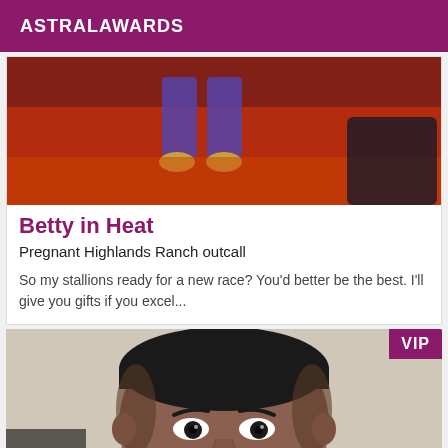ASTRALAWARDS
[Figure (photo): Close-up photo showing feet/legs from above on a red/orange surface, purple pants visible]
Betty in Heat
Pregnant Highlands Ranch outcall
So my stallions ready for a new race? You'd better be the best. I'll give you gifts if you excel...
[Figure (photo): Close-up portrait of a young man looking at the camera, VIP badge in top-right corner]